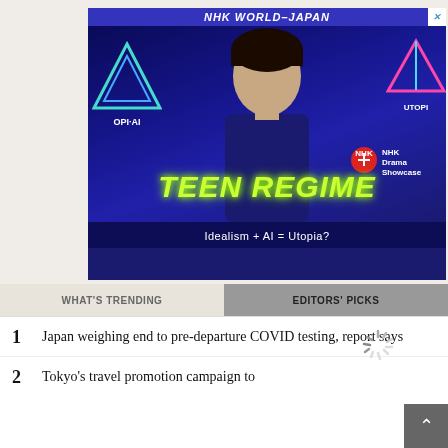[Figure (photo): NHK WORLD-JAPAN advertisement banner for 'TEEN REGIME' drama. Features a young man in a blue outfit centered, with AI/utopia themed logos on left (OPI-AI) and right (UTOPI-). NHK Drama Showcase badge visible. Text reads 'TEEN REGIME' in large green-yellow italic font and 'Idealism + AI = Utopia?' in white below.]
WHAT'S TRENDING
EDITORS' PICKS
1  Japan weighing end to pre-departure COVID testing, report says
2  Tokyo's travel promotion campaign to